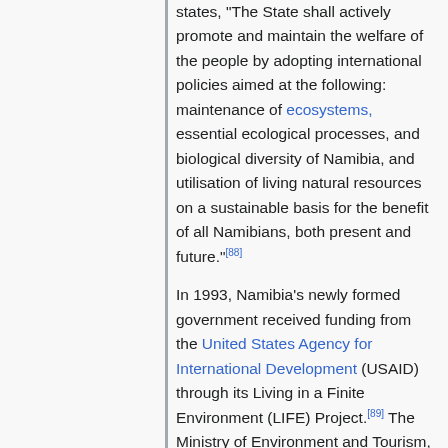states, "The State shall actively promote and maintain the welfare of the people by adopting international policies aimed at the following: maintenance of ecosystems, essential ecological processes, and biological diversity of Namibia, and utilisation of living natural resources on a sustainable basis for the benefit of all Namibians, both present and future."[88]
In 1993, Namibia's newly formed government received funding from the United States Agency for International Development (USAID) through its Living in a Finite Environment (LIFE) Project.[89] The Ministry of Environment and Tourism, with financial support from organisations such as USAID, Endangered Wildlife Trust, WWF, and Canadian Ambassador's Fund, together